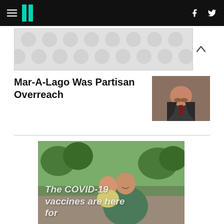HuffPost navigation with hamburger menu, logo, Facebook and Twitter icons
[Figure (other): Advertisement banner with grey polka-dot/circle pattern background]
Mar-A-Lago Was Partisan Overreach
[Figure (photo): Man in suit with mustache raising his hand, wearing a tie]
[Figure (photo): A smiling woman holding a young child outdoors in a park setting, with overlay text reading 'The COVID-19 vaccines are here for']